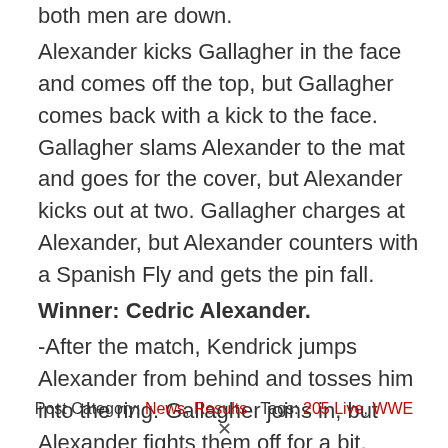both men are down.
Alexander kicks Gallagher in the face and comes off the top, but Gallagher comes back with a kick to the face. Gallagher slams Alexander to the mat and goes for the cover, but Alexander kicks out at two. Gallagher charges at Alexander, but Alexander counters with a Spanish Fly and gets the pin fall.
Winner: Cedric Alexander.
-After the match, Kendrick jumps Alexander from behind and tosses him into the ring. Gallagher joins in, but Alexander fights them off for a bit. Gulak gets into the ring and locks in the Gu-Lock as referees rush the ring. Alexander passes out in the holds and Gulak picks up the Cruiserweight title. Gulak stands tall over Alexander as the show comes to a close.
Post Category: News, Results   Tags: 205 Live, WWE